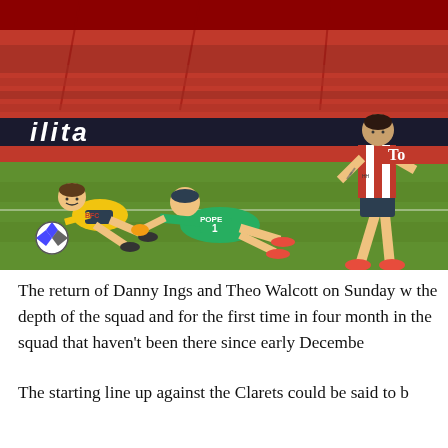[Figure (photo): Football match action photo showing a Southampton player (red and white striped kit) about to shoot, Burnley goalkeeper Nick Pope (green kit, number 1) sliding on the pitch, and a Burnley outfield player (yellow kit) on the ground to the left. A Premier League match, taken at St Mary's Stadium.]
The return of Danny Ings and Theo Walcott on Sunday w... the depth of the squad and for the first time in four month... in the squad that haven't been there since early Decembe...
The starting line up against the Clarets could be said to b...